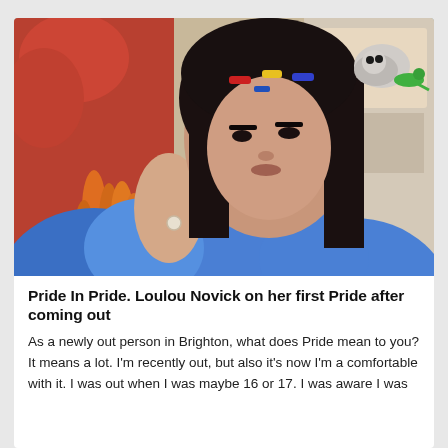[Figure (photo): A young woman with dark hair wearing a bright blue fluffy coat, with colorful hair clips, holding dried orange flowers, posing in a stylized selfie. Sticker emoji of a seal and lizard visible in top right corner.]
Pride In Pride. Loulou Novick on her first Pride after coming out
As a newly out person in Brighton, what does Pride mean to you? It means a lot. I'm recently out, but also it's now I'm a comfortable with it. I was out when I was maybe 16 or 17. I was aware I was